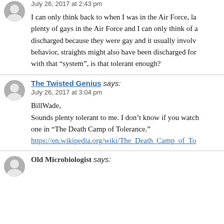July 26, 2017 at 2:43 pm
I can only think back to when I was in the Air Force, la plenty of gays in the Air Force and I can only think of a discharged because they were gay and it usually involv behavior, straights might also have been discharged for with that “system”, is that tolerant enough?
The Twisted Genius says:
July 26, 2017 at 3:04 pm
BillWade,
Sounds plenty tolerant to me. I don’t know if you watch one in “The Death Camp of Tolerance.”
https://en.wikipedia.org/wiki/The_Death_Camp_of_To
Old Microbiologist says: